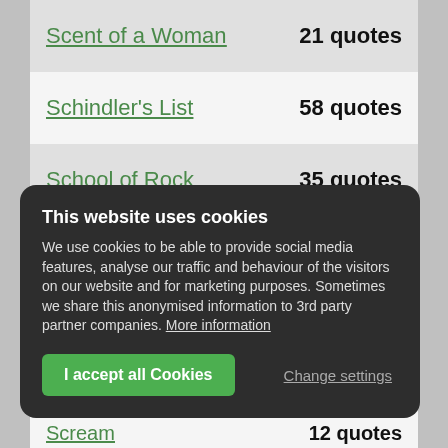Scent of a Woman — 21 quotes
Schindler's List — 58 quotes
School of Rock — 35 quotes
Science of Sleep, The — 21 quotes
Scooby-Doo — 17 quotes
Scooby-Doo 2: Monsters Unleashed — 43 quotes
This website uses cookies
We use cookies to be able to provide social media features, analyse our traffic and behaviour of the visitors on our website and for marketing purposes. Sometimes we share this anonymised information to 3rd party partner companies. More information
I accept all Cookies | Change settings
Scream — 12 quotes